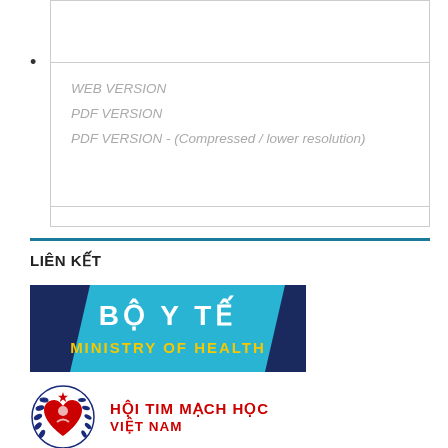WEB VERSION
PDF VERSION
PDF VERSION - (Compressed / lower resolution)
LIÊN KẾT
[Figure (logo): BỘ Y TẾ / MINISTRY OF HEALTH logo banner — blue/teal background with white and yellow bold text]
[Figure (logo): HỘI TIM MẠCH HỌC VIỆT NAM logo with heart emblem and red Vietnamese text]